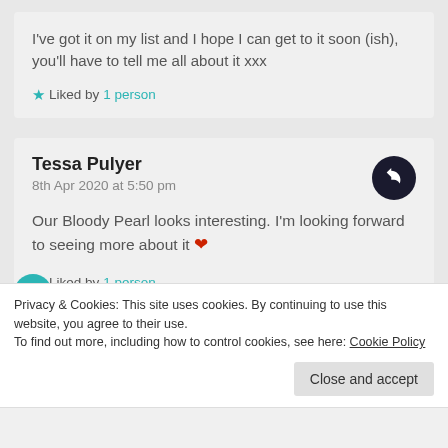I've got it on my list and I hope I can get to it soon (ish), you'll have to tell me all about it xxx
Liked by 1 person
Tessa Pulyer
8th Apr 2020 at 5:50 pm
Our Bloody Pearl looks interesting. I'm looking forward to seeing more about it ❤
Liked by 1 person
Privacy & Cookies: This site uses cookies. By continuing to use this website, you agree to their use.
To find out more, including how to control cookies, see here: Cookie Policy